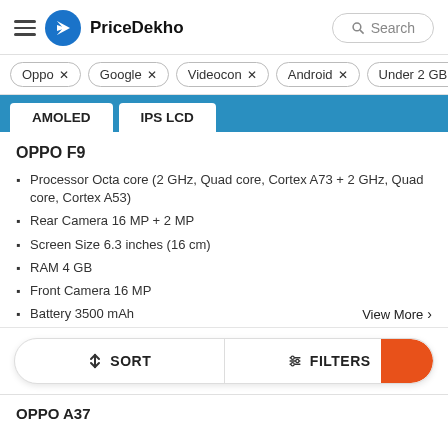PriceDekho Search
Oppo ×
Google ×
Videocon ×
Android ×
Under 2 GB ×
AMOLED  IPS LCD
OPPO F9
Processor Octa core (2 GHz, Quad core, Cortex A73 + 2 GHz, Quad core, Cortex A53)
Rear Camera 16 MP + 2 MP
Screen Size 6.3 inches (16 cm)
RAM 4 GB
Front Camera 16 MP
Battery 3500 mAh
View More >
SORT   FILTERS
OPPO A37